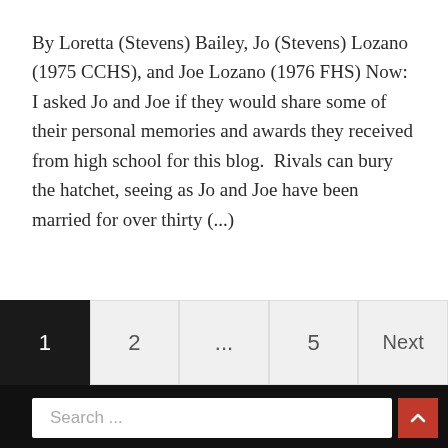By Loretta (Stevens) Bailey, Jo (Stevens) Lozano (1975 CCHS), and Joe Lozano (1976 FHS) Now:  I asked Jo and Joe if they would share some of their personal memories and awards they received from high school for this blog.  Rivals can bury the hatchet, seeing as Jo and Joe have been married for over thirty (...)
1  2  ...  5  Next
Search ...